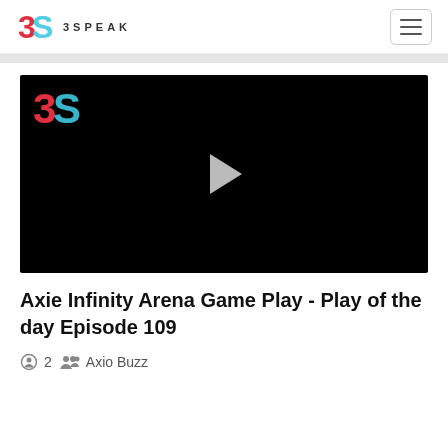3SPEAK
[Figure (screenshot): 3Speak video player showing a black video thumbnail with the 3Speak logo in the top-left corner and a gray play button in the center]
Axie Infinity Arena Game Play - Play of the day Episode 109
2 · Axio Buzz